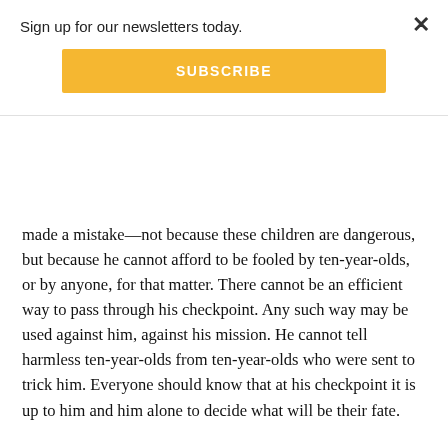Sign up for our newsletters today.
[Figure (other): Yellow SUBSCRIBE button]
made a mistake—not because these children are dangerous, but because he cannot afford to be fooled by ten-year-olds, or by anyone, for that matter. There cannot be an efficient way to pass through his checkpoint. Any such way may be used against him, against his mission. He cannot tell harmless ten-year-olds from ten-year-olds who were sent to trick him. Everyone should know that at his checkpoint it is up to him and him alone to decide what will be their fate.
The soldier realizes he should not act on empathy since empathy can be manipulated. But can he suppress this natural sentiment? It takes time. The next time a similar situation occurs he does not let the child pass. Instead he smiles at him or tries to make him laugh. These are also signs of weakness.